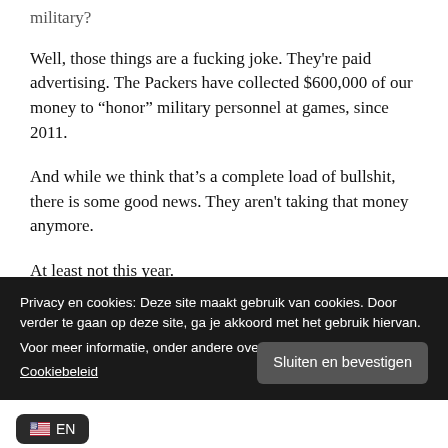military?
Well, those things are a fucking joke. They're paid advertising. The Packers have collected $600,000 of our money to “honor” military personnel at games, since 2011.
And while we think that’s a complete load of bullshit, there is some good news. They aren't taking that money anymore.
At least not this year.
The team’s PR guy, Aaron Popkey, said the Packers do not currently have a contract with the Wisconsin National
Privacy en cookies: Deze site maakt gebruik van cookies. Door verder te gaan op deze site, ga je akkoord met het gebruik hiervan.
Voor meer informatie, onder andere over cookiebeheer, bekijk je:
Cookiebeleid
Sluiten en bevestigen
EN